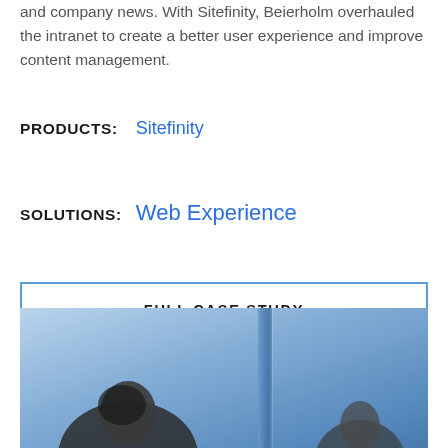and company news. With Sitefinity, Beierholm overhauled the intranet to create a better user experience and improve content management.
PRODUCTS:   Sitefinity
SOLUTIONS:   Web Experience
FULL CASE STUDY
[Figure (photo): Two people in a blue-toned office or workspace environment, partial view cropped at bottom of page]